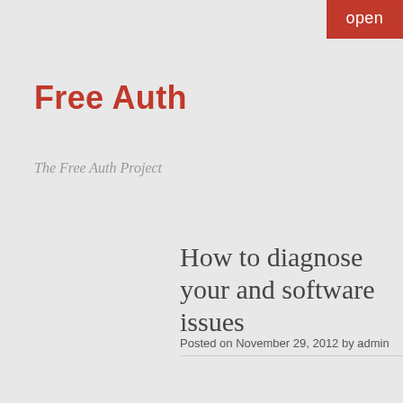open
Free Auth
The Free Auth Project
How to diagnose your and software issues
Posted on November 29, 2012 by admin